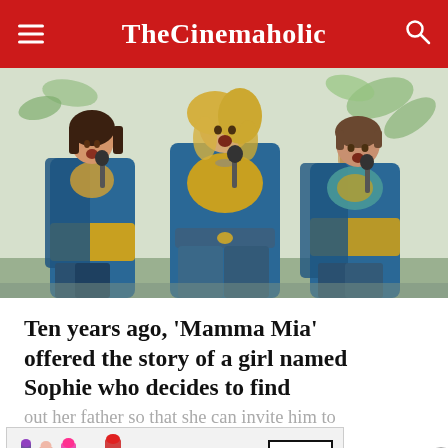TheCinemaholic
[Figure (photo): Three women in blue and gold ABBA-style costumes singing into microphones on stage, with guitars visible in the background]
Ten years ago, ‘Mamma Mia’ offered the story of a girl named Sophie who decides to find out her father so that she can invite him to her wedding. Donna, Sophie’s mother, doesn’t know who the real father is because
[Figure (other): MAC cosmetics advertisement showing lipsticks with Shop Now button]